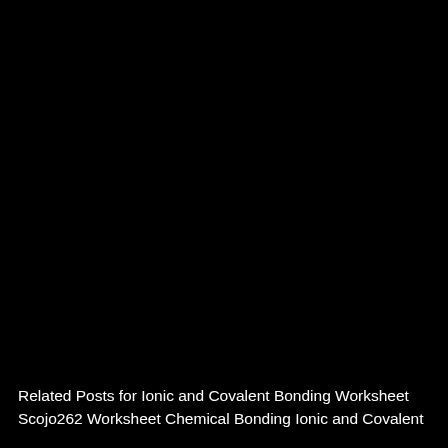[Figure (photo): Predominantly black image, possibly a dark or underexposed photograph serving as background for an educational worksheet page about ionic and covalent bonding.]
Related Posts for Ionic and Covalent Bonding Worksheet Scojo262 Worksheet Chemical Bonding Ionic and Covalent